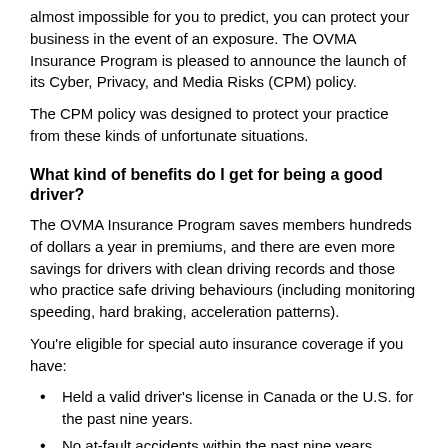almost impossible for you to predict, you can protect your business in the event of an exposure. The OVMA Insurance Program is pleased to announce the launch of its Cyber, Privacy, and Media Risks (CPM) policy.
The CPM policy was designed to protect your practice from these kinds of unfortunate situations.
What kind of benefits do I get for being a good driver?
The OVMA Insurance Program saves members hundreds of dollars a year in premiums, and there are even more savings for drivers with clean driving records and those who practice safe driving behaviours (including monitoring speeding, hard braking, acceleration patterns).
You're eligible for special auto insurance coverage if you have:
Held a valid driver's license in Canada or the U.S. for the past nine years.
No at-fault accidents within the past nine years (applies to all drivers of the vehicle).
No driver of the vehicle having been convicted in the past three years of any serious or major driving conviction, or more than one minor driving conviction.